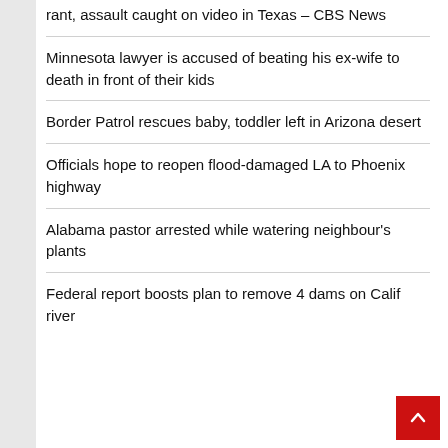rant, assault caught on video in Texas – CBS News
Minnesota lawyer is accused of beating his ex-wife to death in front of their kids
Border Patrol rescues baby, toddler left in Arizona desert
Officials hope to reopen flood-damaged LA to Phoenix highway
Alabama pastor arrested while watering neighbour's plants
Federal report boosts plan to remove 4 dams on Calif river